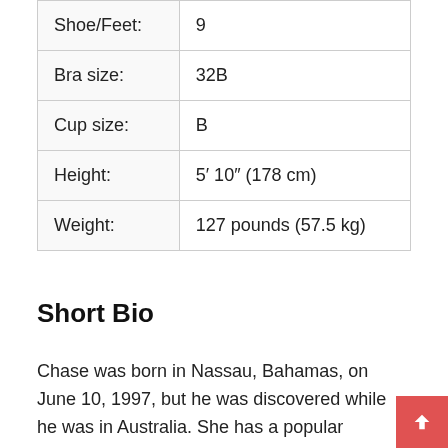| Shoe/Feet: | 9 |
| Bra size: | 32B |
| Cup size: | B |
| Height: | 5′ 10″ (178 cm) |
| Weight: | 127 pounds (57.5 kg) |
Short Bio
Chase was born in Nassau, Bahamas, on June 10, 1997, but he was discovered while he was in Australia. She has a popular Instagram account